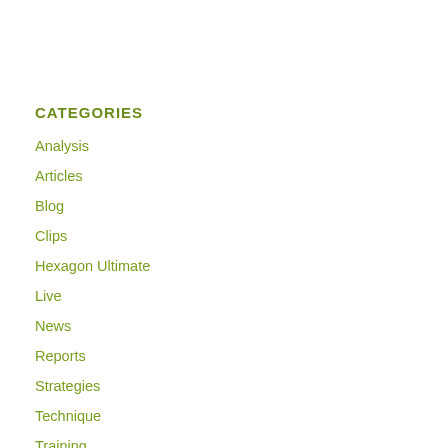CATEGORIES
Analysis
Articles
Blog
Clips
Hexagon Ultimate
Live
News
Reports
Strategies
Technique
Training
Uncategorized